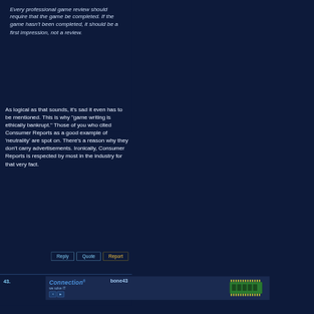Every professional game review should require that the game be completed. If the game hasn't been completed, it should be a first impression, not a review.
As logical as that sounds, it's sad it even has to be mentioned. This is why "game writing is ethically bankrupt." Those of you who cited Consumer Reports as a good example of 'neutrality' are spot on. There's a reason why they don't carry advertisements. Ironically, Consumer Reports is respected by most in the industry for that very fact.
Reply  Quote  Report
43.
[Figure (screenshot): Advertisement banner for Connection (we solve IT) showing logo and RAM memory chip image]
bone43